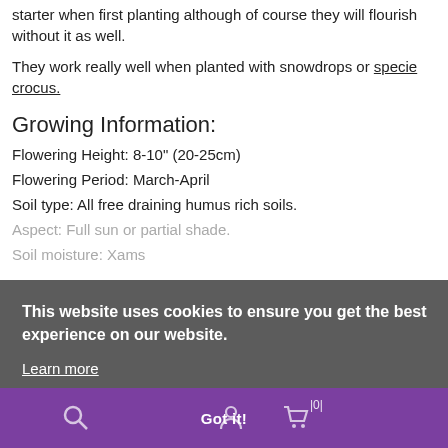starter when first planting although of course they will flourish without it as well.
They work really well when planted with snowdrops or specie crocus.
Growing Information:
Flowering Height: 8-10" (20-25cm)
Flowering Period: March-April
Soil type: All free draining humus rich soils.
Aspect: Full sun or partial shade.
Soil moisture: Xams
This website uses cookies to ensure you get the best experience on our website. Learn more
Got it!